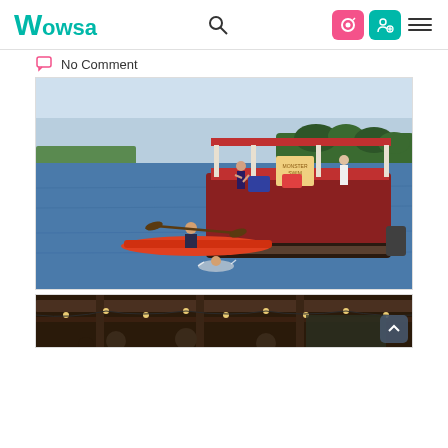Wowsa | No Comment
No Comment
[Figure (photo): A person swimming in open water, with a kayaker in an orange kayak nearby and a red pontoon boat in the background on a lake. People are standing on the pontoon boat, and there is a sign on the boat. Trees and blue sky visible in the background.]
[Figure (photo): Partial view of people gathered under a covered outdoor structure with string lights, appearing to be a social gathering or event.]